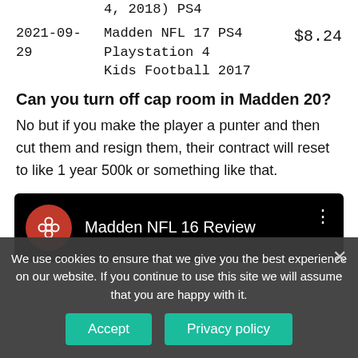| Date | Product | Price |
| --- | --- | --- |
|  | 4, 2018) PS4 |  |
| 2021-09-29 | Madden NFL 17 PS4 Playstation 4 Kids Football 2017 | $8.24 |
Can you turn off cap room in Madden 20?
No but if you make the player a punter and then cut them and resign them, their contract will reset to like 1 year 500k or something like that.
[Figure (screenshot): YouTube video card showing 'Madden NFL 16 Review' with a red circular channel icon on a black background]
We use cookies to ensure that we give you the best experience on our website. If you continue to use this site we will assume that you are happy with it.
Accept | Privacy policy